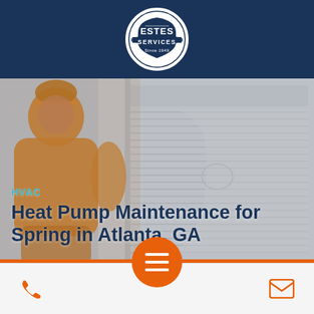Estes Services — Since 1949
[Figure (logo): Estes Services circular logo with shield shape, white on navy background, text 'ESTES SERVICES Since 1949']
[Figure (photo): Background photo of HVAC technician in orange jacket working on an outdoor air conditioning unit, overlaid with semi-transparent wash]
HVAC
Heat Pump Maintenance for Spring in Atlanta, GA
[Figure (infographic): Orange circular hamburger menu button with three white horizontal lines, centered at bottom of hero section]
Phone icon (left) | Menu | Email icon (right)